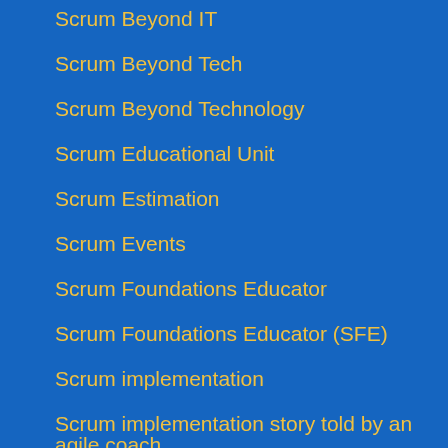Scrum Beyond IT
Scrum Beyond Tech
Scrum Beyond Technology
Scrum Educational Unit
Scrum Estimation
Scrum Events
Scrum Foundations Educator
Scrum Foundations Educator (SFE)
Scrum implementation
Scrum implementation story told by an agile coach